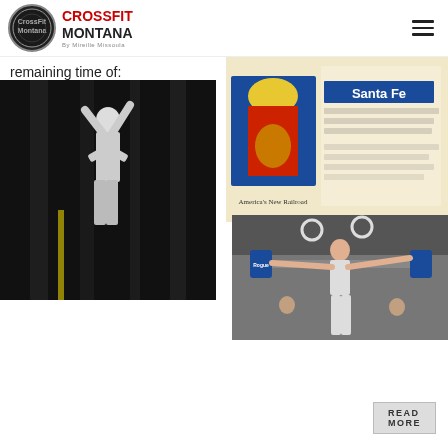CrossFit Montana
remaining time of:
10 Push Press #43/30
10 Box Jump #60/50
[Figure (photo): Athlete performing gymnastics/rope climb in dark gym]
[Figure (photo): Santa Fe railroad vintage advertisement/poster]
READ MORE
[Figure (photo): Female athlete performing overhead barbell lift in CrossFit gym]